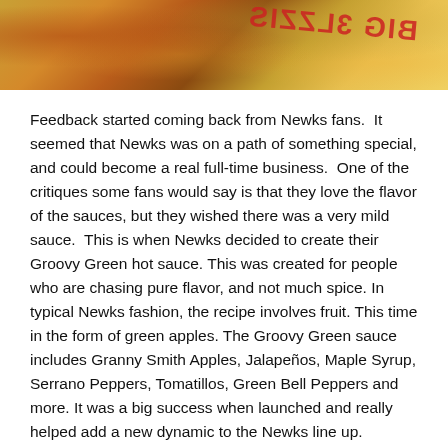[Figure (photo): Top banner photo showing food (appears to be rice/grain dish) with a partially visible red text label reading 'SIZZLE BIG' in reverse/mirror orientation]
Feedback started coming back from Newks fans.  It seemed that Newks was on a path of something special, and could become a real full-time business.  One of the critiques some fans would say is that they love the flavor of the sauces, but they wished there was a very mild sauce.  This is when Newks decided to create their Groovy Green hot sauce. This was created for people who are chasing pure flavor, and not much spice. In typical Newks fashion, the recipe involves fruit. This time in the form of green apples. The Groovy Green sauce includes Granny Smith Apples, Jalapeños, Maple Syrup, Serrano Peppers, Tomatillos, Green Bell Peppers and more. It was a big success when launched and really helped add a new dynamic to the Newks line up.
Newks is also known to collaborate with a lot of artists and musicians.  The main artwork was drawn by the artist Jo